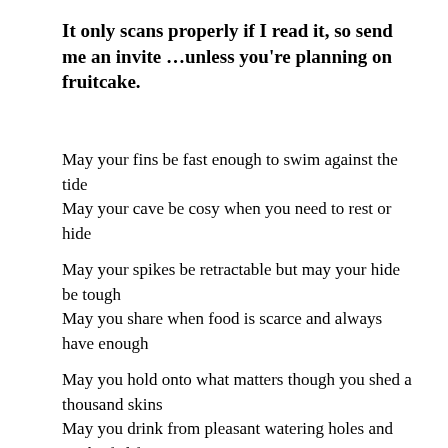It only scans properly if I read it, so send me an invite …unless you're planning on fruitcake.
May your fins be fast enough to swim against the tide
May your cave be cosy when you need to rest or hide
May your spikes be retractable but may your hide be tough
May you share when food is scarce and always have enough
May you hold onto what matters though you shed a thousand skins
May you drink from pleasant watering holes and not be fed from tins